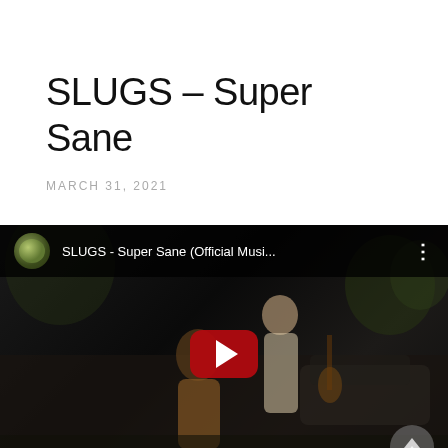SLUGS – Super Sane
MARCH 31, 2021
[Figure (screenshot): Embedded YouTube video player showing SLUGS - Super Sane (Official Musi... with a dark background image of band members, a red YouTube play button in the center, and a three-dot menu in the top right corner.]